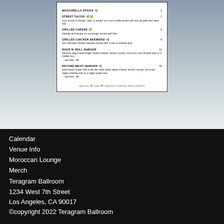[Figure (other): Menu card showing food items with prices on a white card with border, displayed against a gray-blue gradient background]
MOZZARELLA STICKS 🌿 - 1
STREET TACOS! 🌿🌱 - 1 - your choice of chicken, beef, or potato! on a corn tortilla served with pico de gallo and salsa roja
GRILLED CHEESE 🌿 - 9 - cheddar and havarti on sourdough, served with fries
GRILLED CHICKEN SKEWERS! 🌱 - 9 - two marinated chicken skewers served with a side of sriracha aioli
ROCK N' ROLL BURGER - 11 - premium angus beef burger, havarti cheese, lettuce, tomato, red onion, and sriracha aioli on a challah bun - add fries - $4
BEYOND MEAT! BURGER 🌱 - 16 - plant-based burger that cooks like meat! daiya vegan cheese, lettuce, tomato, red onion, vegan sriracha aioli on a vegan potato bun - add fries - $4
gluten-free 🌿 / vegan 🌱 / vegetarian or vegetarian option available at
Calendar
Venue Info
Moroccan Lounge
Merch
Teragram Ballroom
1234 West 7th Street
Los Angeles, CA 90017
©copyright 2022 Teragram Ballroom